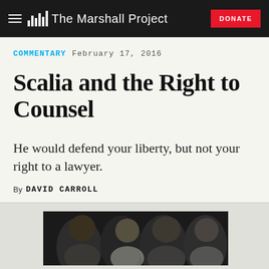The Marshall Project | DONATE
COMMENTARY  February 17, 2016
Scalia and the Right to Counsel
He would defend your liberty, but not your right to a lawyer.
By DAVID CARROLL
[Figure (photo): Dark photograph showing people gathered closely together, partially visible at bottom of page]